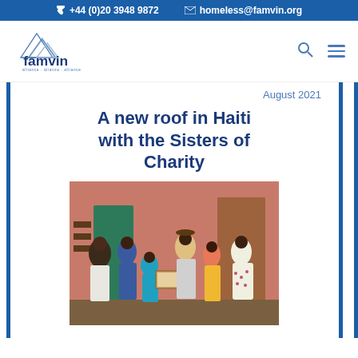+44 (0)20 3948 9872   homeless@famvin.org
[Figure (logo): Famvin alliance · alianza · alliance logo with stylized house/mountain icon in blue and grey]
August 2021
A new roof in Haiti with the Sisters of Charity
[Figure (photo): Group photo of several people including children standing in front of a pink building, one person holding a framed certificate]